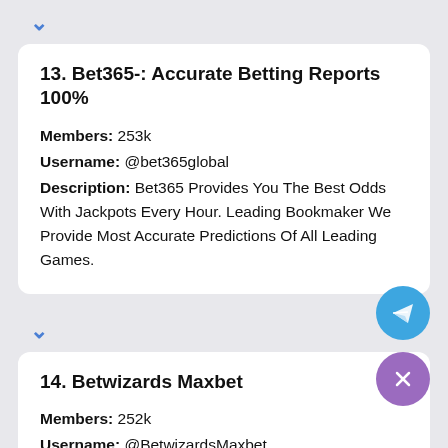13. Bet365-: Accurate Betting Reports 100%
Members: 253k
Username: @bet365global
Description: Bet365 Provides You The Best Odds With Jackpots Every Hour. Leading Bookmaker We Provide Most Accurate Predictions Of All Leading Games.
14. Betwizards Maxbet
Members: 252k
Username: @BetwizardsMaxbet
Description: 🚩 100% euro win matcheel 💝 100%
[Figure (illustration): Blue circular Telegram send button (paper plane icon) floating action button]